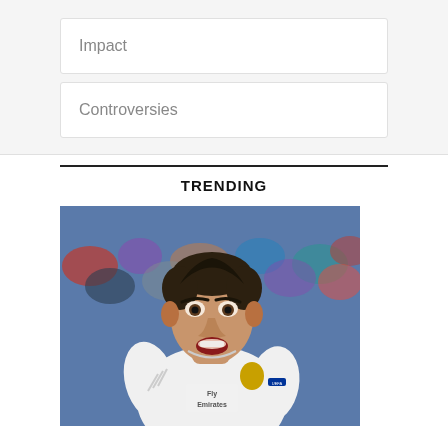Impact
Controversies
TRENDING
[Figure (photo): A football player wearing a white Real Madrid jersey with 'Fly Emirates' sponsor and Adidas logo, looking upward with an open mouth, crowd visible in background]